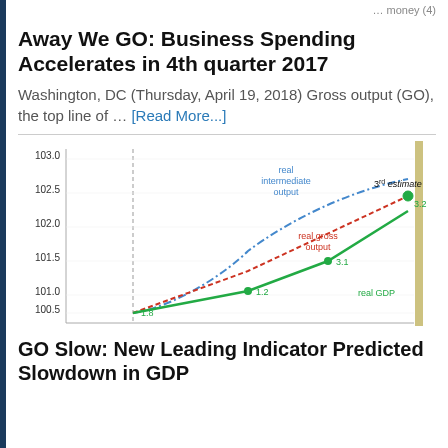... money (4)
Away We GO: Business Spending Accelerates in 4th quarter 2017
Washington, DC (Thursday, April 19, 2018) Gross output (GO), the top line of … [Read More...]
[Figure (line-chart): Real Gross Output, Real Intermediate Output, and Real GDP]
GO Slow: New Leading Indicator Predicted Slowdown in GDP